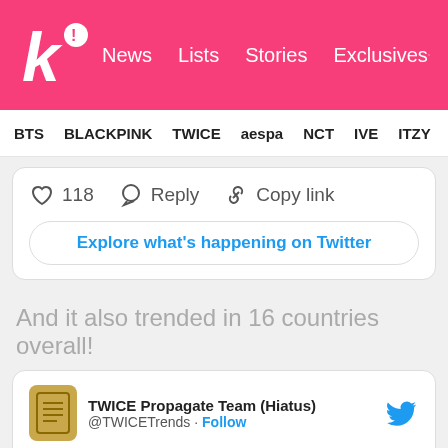Koreaboo — News | Lists | Stories | Exclusives
BTS | BLACKPINK | TWICE | aespa | NCT | IVE | ITZY
[Figure (screenshot): Partial tweet showing 118 likes, Reply, Copy link actions, and Explore what's happening on Twitter button]
And it also trended in 16 countries overall!
[Figure (screenshot): Tweet from TWICE Propagate Team (Hiatus) @TWICECTrends: #Nayeon_SantaTellMe is now trending at: #2 Worldwide]